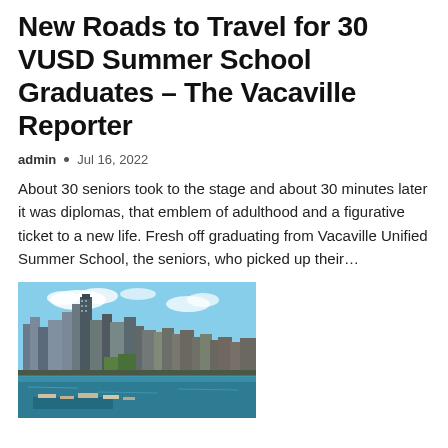New Roads to Travel for 30 VUSD Summer School Graduates – The Vacaville Reporter
admin  •  Jul 16, 2022
About 30 seniors took to the stage and about 30 minutes later it was diplomas, that emblem of adulthood and a figurative ticket to a new life. Fresh off graduating from Vacaville Unified Summer School, the seniors, who picked up their…
[Figure (photo): Aerial photograph of a city skyline with tall buildings near a waterfront with boats and a harbor, taken on a sunny day with blue sky and clouds.]